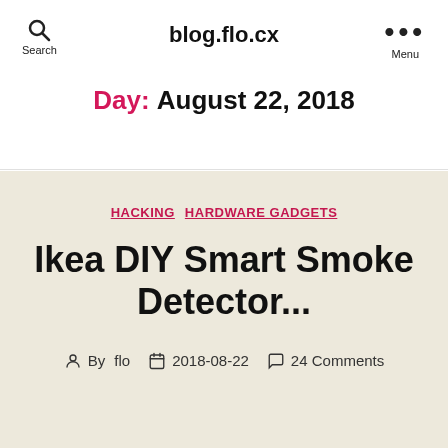blog.flo.cx
Day: August 22, 2018
HACKING   HARDWARE GADGETS
Ikea DIY Smart Smoke Detector...
By flo   2018-08-22   24 Comments